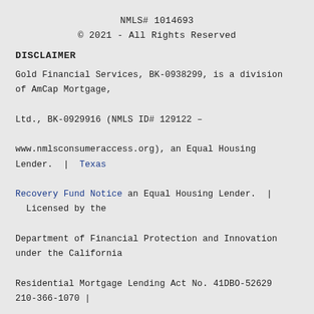NMLS# 1014693
© 2021 - All Rights Reserved
DISCLAIMER
Gold Financial Services, BK-0938299, is a division of AmCap Mortgage, Ltd., BK-0929916 (NMLS ID# 129122 – www.nmlsconsumeraccess.org), an Equal Housing Lender. | Texas Recovery Fund Notice an Equal Housing Lender. | Licensed by the Department of Financial Protection and Innovation under the California Residential Mortgage Lending Act No. 41DBO-52629 210-366-1070 | 210-981-2200 | info@goldfinancial.com | Privacy Policy | Careers | Employee Loans | State Licenses